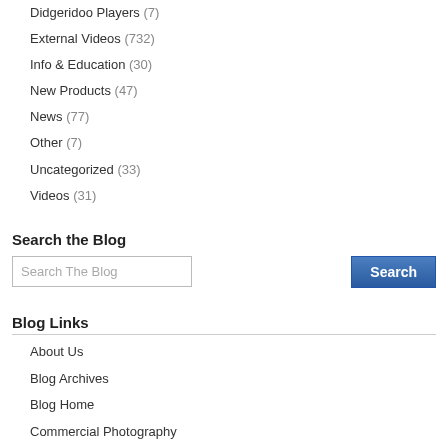Didgeridoo Players (7)
External Videos (732)
Info & Education (30)
New Products (47)
News (77)
Other (7)
Uncategorized (33)
Videos (31)
Search the Blog
Search The Blog [input] Search [button]
Blog Links
About Us
Blog Archives
Blog Home
Commercial Photography
Contact Us
Youtube Videos
Tags
aboriginal arnhemland australia australian breath buy